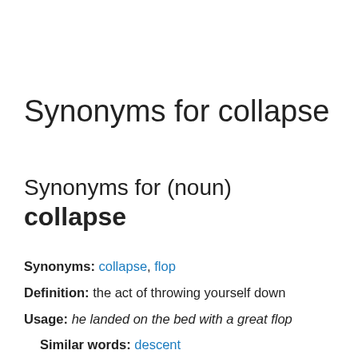Synonyms for collapse
Synonyms for (noun) collapse
Synonyms: collapse, flop
Definition: the act of throwing yourself down
Usage: he landed on the bed with a great flop
Similar words: descent
Definition: the act of changing your location in a downward direction